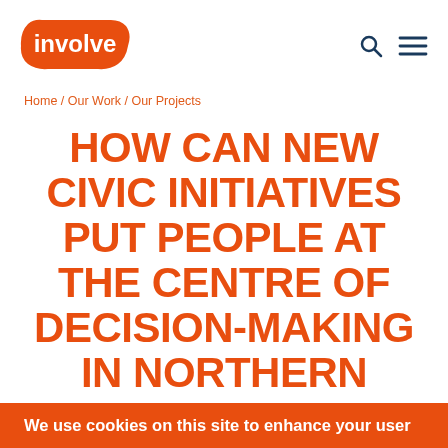[Figure (logo): Involve logo — white text 'involve' on orange irregular badge shape]
Home / Our Work / Our Projects
HOW CAN NEW CIVIC INITIATIVES PUT PEOPLE AT THE CENTRE OF DECISION-MAKING IN NORTHERN IRELAND?
We use cookies on this site to enhance your user